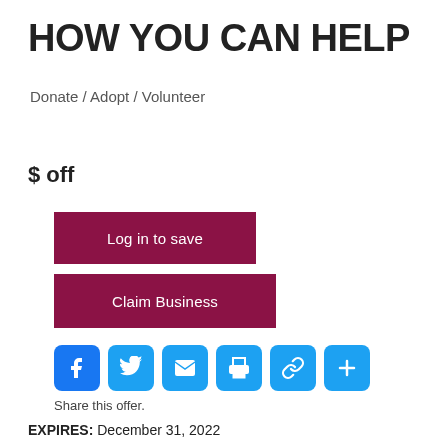HOW YOU CAN HELP
Donate / Adopt / Volunteer
$ off
Log in to save
Claim Business
[Figure (infographic): Row of six social sharing buttons: Facebook (blue), Twitter (light blue), Email (light blue), Print (light blue), Link/Copy (light blue), Plus/More (light blue)]
Share this offer.
EXPIRES: December 31, 2022